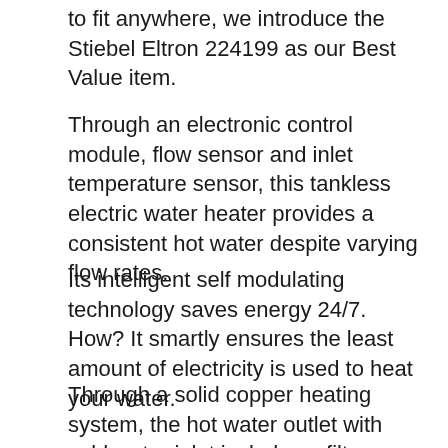to fit anywhere, we introduce the Stiebel Eltron 224199 as our Best Value item.
Through an electronic control module, flow sensor and inlet temperature sensor, this tankless electric water heater provides a consistent hot water despite varying flow rates.
Its intelligent self modulating technology saves energy 24/7. How? It smartly ensures the least amount of electricity is used to heat your water.
Through a solid copper heating system, the hot water outlet with cold water inlet includes a filter screen, plus the safety thermal cut off is a useful feature.